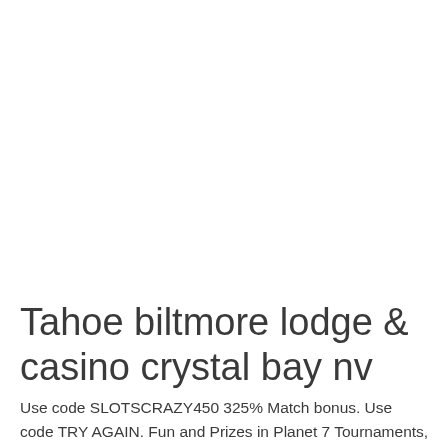Tahoe biltmore lodge & casino crystal bay nv
Use code SLOTSCRAZY450 325% Match bonus. Use code TRY AGAIN. Fun and Prizes in Planet 7 Tournaments, tahoe biltmore lodge & casino crystal bay nv